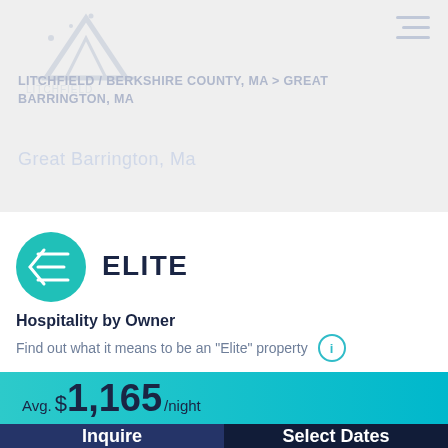[Figure (logo): Faded watermark logo in top-left of gray header area]
LITCHFIELD / BERKSHIRE COUNTY, MA > GREAT BARRINGTON, MA
[Figure (logo): Elite teal circular badge with stylized E/sigma symbol]
ELITE
Hospitality by Owner
Find out what it means to be an "Elite" property
Avg. $1,165/night
Inquire
Select Dates